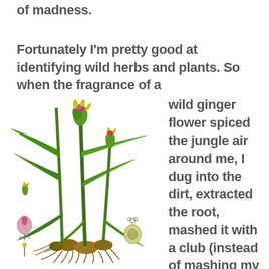of madness.
Fortunately I'm pretty good at identifying wild herbs and plants.  So when the fragrance of a wild ginger flower spiced the jungle air around me, I dug into the dirt, extracted the root, mashed it with a club (instead of mashing my pricey television
[Figure (illustration): Botanical illustration of a wild ginger plant (Zingiber) showing tall green stalks with long leaves, a flowering top with yellow and pink blooms, brown rhizome roots at the base, and several detailed cross-section diagrams of the flower parts and seed pod on the left and lower right sides.]